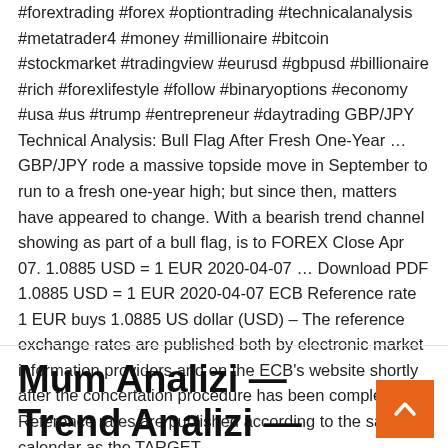#forextrading #forex #optiontrading #technicalanalysis #metatrader4 #money #millionaire #bitcoin #stockmarket #tradingview #eurusd #gbpusd #billionaire #rich #forexlifestyle #follow #binaryoptions #economy #usa #us #trump #entrepreneur #daytrading GBP/JPY Technical Analysis: Bull Flag After Fresh One-Year … GBP/JPY rode a massive topside move in September to run to a fresh one-year high; but since then, matters have appeared to change. With a bearish trend channel showing as part of a bull flag, is to FOREX Close Apr 07. 1.0885 USD = 1 EUR 2020-04-07 … Download PDF 1.0885 USD = 1 EUR 2020-04-07 ECB Reference rate 1 EUR buys 1.0885 US dollar (USD) – The reference exchange rates are published both by electronic market information providers and on the ECB's website shortly after the concertation procedure has been completed. Reference rates are published according to the same calendar as the TARGET. …
Mum Analizi — Trend Analizi — TradingView